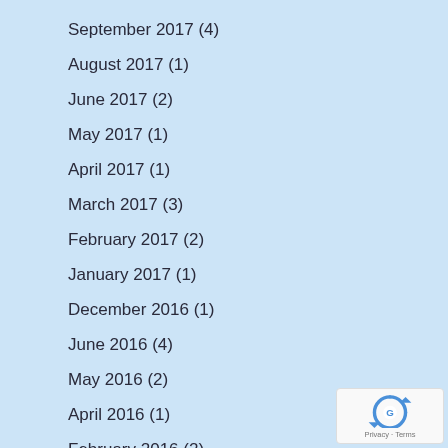September 2017 (4)
August 2017 (1)
June 2017 (2)
May 2017 (1)
April 2017 (1)
March 2017 (3)
February 2017 (2)
January 2017 (1)
December 2016 (1)
June 2016 (4)
May 2016 (2)
April 2016 (1)
February 2016 (2)
December 2015 (1)
[Figure (logo): reCAPTCHA badge with Privacy and Terms text]